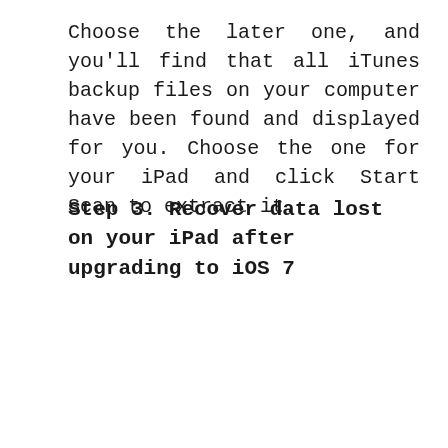Choose the later one, and you'll find that all iTunes backup files on your computer have been found and displayed for you. Choose the one for your iPad and click Start Scan to extract it.
Step 3. Recover data lost on your iPad after upgrading to iOS 7